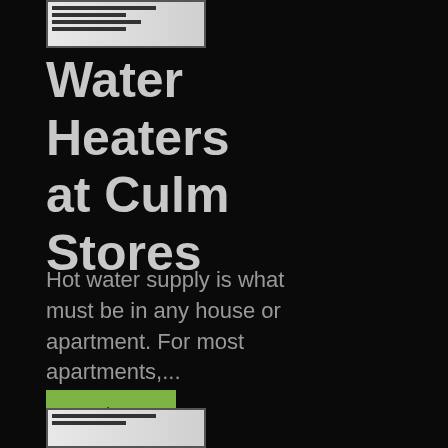[Figure (screenshot): Small thumbnail image of a document page at the top]
Water Heaters at Culm Stores
Hot water supply is what must be in any house or apartment. For most apartments,...
Read more about Clum Stores Distribution Elterm Ltd
[Figure (screenshot): Small thumbnail image of a document page at the bottom]